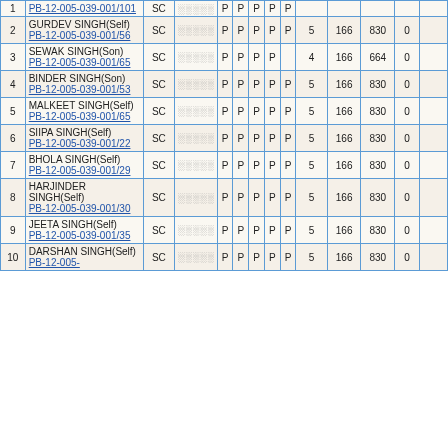| # | Name | Category | Script | Y1 | Y2 | Y3 | Y4 | Y5 | Count | Val1 | Val2 | Val3 | Val4 |
| --- | --- | --- | --- | --- | --- | --- | --- | --- | --- | --- | --- | --- | --- |
| 1 | PB-12-005-039-001/101 | SC | █████ | P | P | P | P | P |  |  |  |  |  |
| 2 | GURDEV SINGH(Self) PB-12-005-039-001/56 | SC | █████ | P | P | P | P | P | 5 | 166 | 830 | 0 |  |
| 3 | SEWAK SINGH(Son) PB-12-005-039-001/65 | SC | █████ | P | P | P | P |  | 4 | 166 | 664 | 0 |  |
| 4 | BINDER SINGH(Son) PB-12-005-039-001/53 | SC | █████ | P | P | P | P | P | 5 | 166 | 830 | 0 |  |
| 5 | MALKEET SINGH(Self) PB-12-005-039-001/65 | SC | █████ | P | P | P | P | P | 5 | 166 | 830 | 0 |  |
| 6 | SIIPA SINGH(Self) PB-12-005-039-001/22 | SC | █████ | P | P | P | P | P | 5 | 166 | 830 | 0 |  |
| 7 | BHOLA SINGH(Self) PB-12-005-039-001/29 | SC | █████ | P | P | P | P | P | 5 | 166 | 830 | 0 |  |
| 8 | HARJINDER SINGH(Self) PB-12-005-039-001/30 | SC | █████ | P | P | P | P | P | 5 | 166 | 830 | 0 |  |
| 9 | JEETA SINGH(Self) PB-12-005-039-001/35 | SC | █████ | P | P | P | P | P | 5 | 166 | 830 | 0 |  |
| 10 | DARSHAN SINGH(Self) PB-12-005-039- | SC | █████ | P | P | P | P | P | 5 | 166 | 830 | 0 |  |